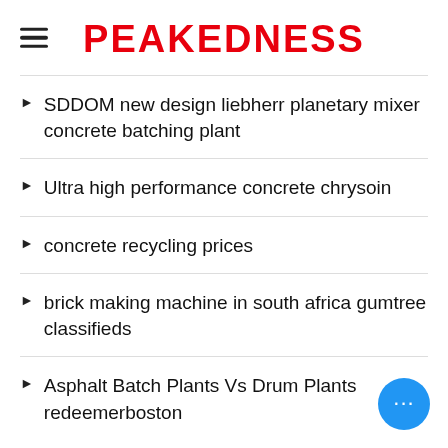PEAKEDNESS
SDDOM new design liebherr planetary mixer concrete batching plant
Ultra high performance concrete chrysoin
concrete recycling prices
brick making machine in south africa gumtree classifieds
Asphalt Batch Plants Vs Drum Plants redeemerboston